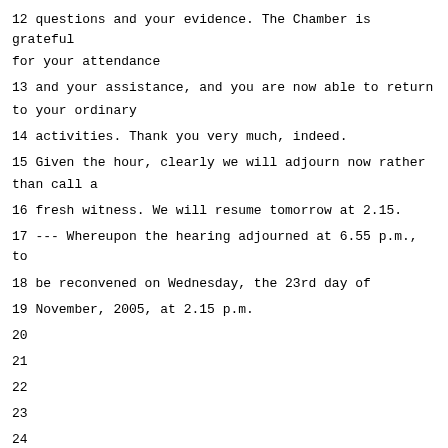12 questions and your evidence. The Chamber is grateful
for your attendance
13 and your assistance, and you are now able to return
to your ordinary
14 activities. Thank you very much, indeed.
15 Given the hour, clearly we will adjourn now rather
than call a
16 fresh witness. We will resume tomorrow at 2.15.
17 --- Whereupon the hearing adjourned at 6.55 p.m., to
18 be reconvened on Wednesday, the 23rd day of
19 November, 2005, at 2.15 p.m.
20
21
22
23
24
25